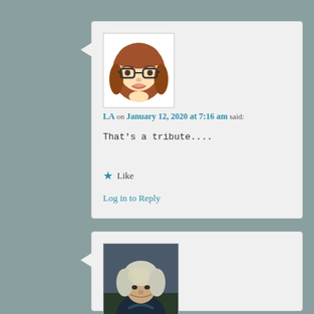[Figure (illustration): Avatar of LA: cartoon woman with brown bob haircut and glasses]
LA on January 12, 2020 at 7:16 am said:
That's a tribute....
★ Like
Log in to Reply
[Figure (photo): Photo of Anne Mehrling: elderly person with white/grey hair outdoors]
Anne Mehrling on January 12, 2020 at 7:22 am said:
I vote that obituary as the best of the century. Thank you for presenting it to us.